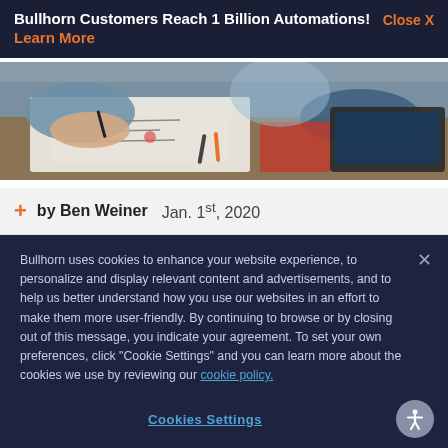Bullhorn Customers Reach 1 Billion Automations! Learn More Close X
[Figure (photo): Overhead view of people working at a table with papers and a laptop, hands visible writing]
by Ben Weiner   Jan. 1st, 2020
Bullhorn uses cookies to enhance your website experience, to personalize and display relevant content and advertisements, and to help us better understand how you use our websites in an effort to make them more user-friendly. By continuing to browse or by closing out of this message, you indicate your agreement. To set your own preferences, click "Cookie Settings" and you can learn more about the cookies we use by reviewing our cookie policy.
Cookies Settings